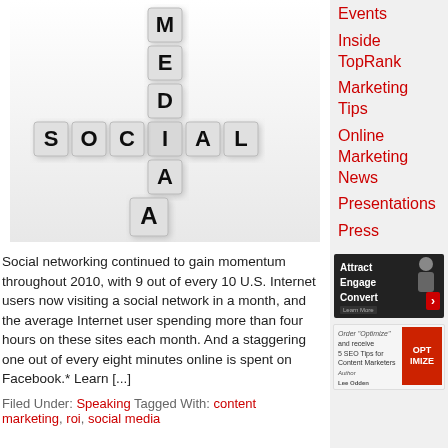[Figure (photo): 3D scrabble tiles spelling MEDIA vertically and SOCIAL horizontally on a white background]
Social networking continued to gain momentum throughout 2010, with 9 out of every 10 U.S. Internet users now visiting a social network in a month, and the average Internet user spending more than four hours on these sites each month. And a staggering one out of every eight minutes online is spent on Facebook.* Learn [...]
Filed Under: Speaking Tagged With: content marketing, roi, social media
Events
Inside TopRank
Marketing Tips
Online Marketing News
Presentations
Press
[Figure (screenshot): Ad banner: Attract Engage Convert with arrow button]
[Figure (screenshot): Ad banner: Order Optimize and receive 5 SEO Tips for Content Marketers by Lee Odden, Get The Book button]